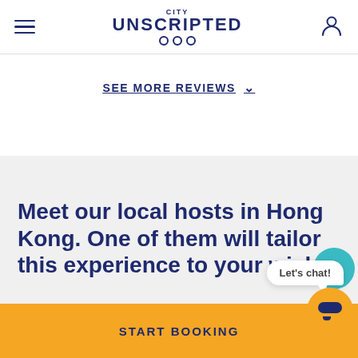City Unscripted navigation bar with hamburger menu, logo, and user icon
SEE MORE REVIEWS
Meet our local hosts in Hong Kong. One of them will tailor this experience to your wishe
Let's chat!
START BOOKING